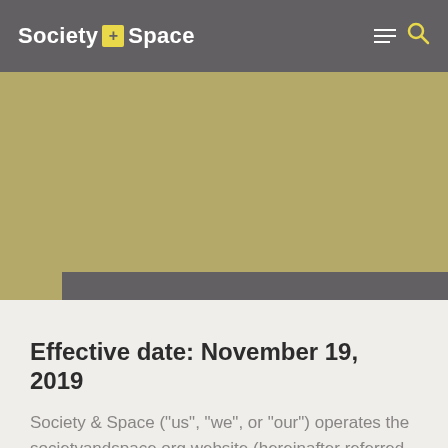Society + Space
[Figure (other): Olive/khaki colored hero image area with a dark gray bar at the bottom]
Effective date: November 19, 2019
Society & Space ("us", "we", or "our") operates the societyandspace.org website (hereinafter referred to as the "Service")